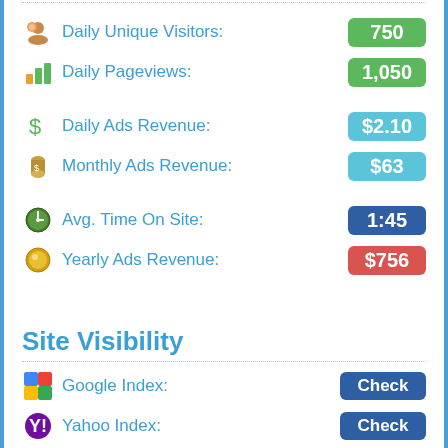Daily Unique Visitors: 750
Daily Pageviews: 1,050
Daily Ads Revenue: $2.10
Monthly Ads Revenue: $63
Avg. Time On Site: 1:45
Yearly Ads Revenue: $756
Site Visibility
Google Index: Check
Yahoo Index: Check
Bing Index: Check